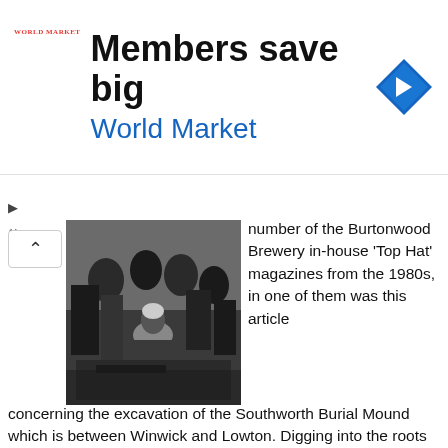[Figure (other): Advertisement banner for World Market: 'Members save big' with World Market logo and blue diamond navigation icon]
[Figure (photo): Black and white photograph of several people excavating an archaeological site, digging in muddy ground]
number of the Burtonwood Brewery in-house ‘Top Hat’ magazines from the 1980s, in one of them was this article
concerning the excavation of the Southworth Burial Mound which is between Winwick and Lowton. Digging into the roots of history Remnants of a long-lost civilisation have been unearthed from plough-blade depth on open farmland, close to a huge man-made crater which will eventually accommodate colliery waste. And to mark the sensational discovery, being hailed as the North’s most important prehistoric find of the last decade, the archaeology…